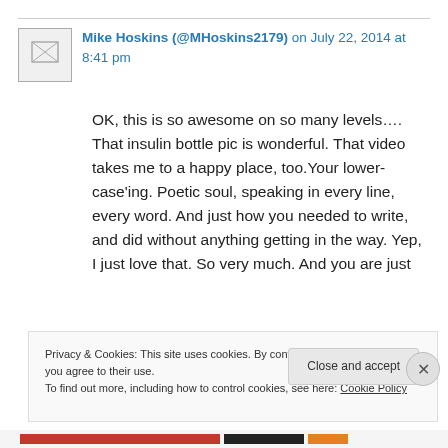Mike Hoskins (@MHoskins2179) on July 22, 2014 at 8:41 pm
OK, this is so awesome on so many levels…. That insulin bottle pic is wonderful. That video takes me to a happy place, too.Your lower-case'ing. Poetic soul, speaking in every line, every word. And just how you needed to write, and did without anything getting in the way. Yep, I just love that. So very much. And you are just
Privacy & Cookies: This site uses cookies. By continuing to use this website, you agree to their use.
To find out more, including how to control cookies, see here: Cookie Policy
Close and accept